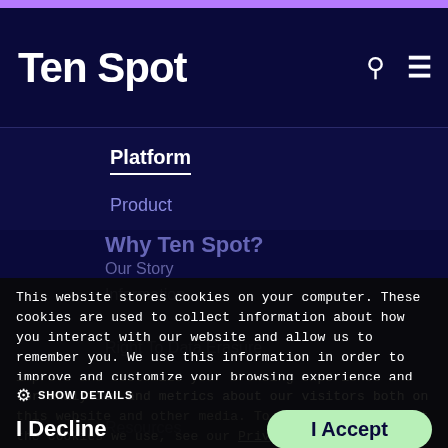[Figure (screenshot): Ten Spot website header with dark navy background and white logo text 'Ten Spot', search icon and hamburger menu icon on the right]
Platform
Product
Why Ten Spot?
Our Story
Information
Right To Data Erasure
Resources
This website stores cookies on your computer. These cookies are used to collect information about how you interact with our website and allow us to remember you. We use this information in order to improve and customize your browsing experience and for analytics and metrics about our visitors both on this website and other media. To find out more about the cookies we use, see our Privacy Policy
SHOW DETAILS
I Decline
I Accept